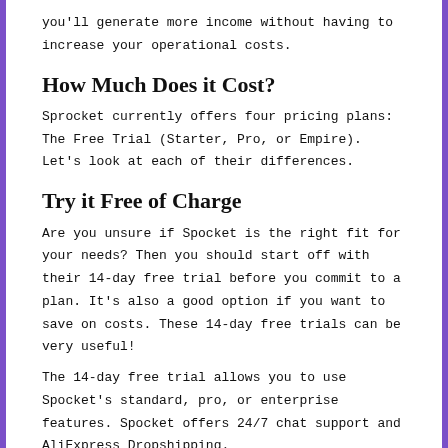you'll generate more income without having to increase your operational costs.
How Much Does it Cost?
Sprocket currently offers four pricing plans: The Free Trial (Starter, Pro, or Empire). Let's look at each of their differences.
Try it Free of Charge
Are you unsure if Spocket is the right fit for your needs? Then you should start off with their 14-day free trial before you commit to a plan. It's also a good option if you want to save on costs. These 14-day free trials can be very useful!
The 14-day free trial allows you to use Spocket's standard, pro, or enterprise features. Spocket offers 24/7 chat support and AliExpress Dropshipping.